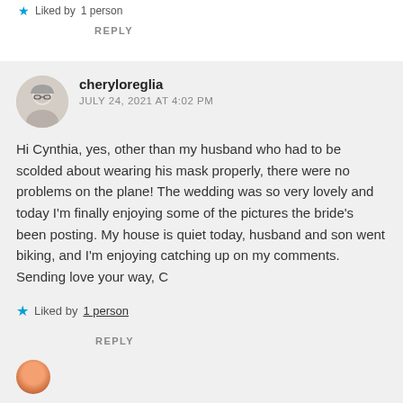Liked by 1 person
REPLY
cheryloreglia
JULY 24, 2021 AT 4:02 PM
Hi Cynthia, yes, other than my husband who had to be scolded about wearing his mask properly, there were no problems on the plane! The wedding was so very lovely and today I'm finally enjoying some of the pictures the bride's been posting. My house is quiet today, husband and son went biking, and I'm enjoying catching up on my comments. Sending love your way, C
Liked by 1 person
REPLY